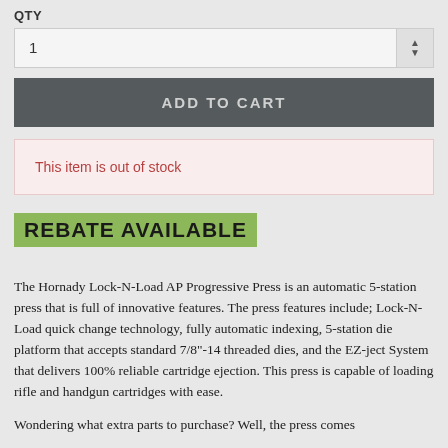QTY
1
ADD TO CART
This item is out of stock
REBATE AVAILABLE
The Hornady Lock-N-Load AP Progressive Press is an automatic 5-station press that is full of innovative features. The press features include; Lock-N-Load quick change technology, fully automatic indexing, 5-station die platform that accepts standard 7/8"-14 threaded dies, and the EZ-ject System that delivers 100% reliable cartridge ejection. This press is capable of loading rifle and handgun cartridges with ease.
Wondering what extra parts to purchase? Well, the press comes